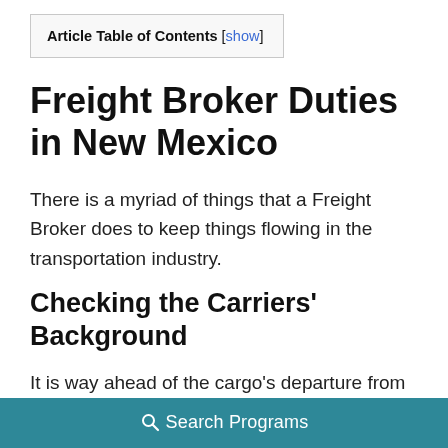| Article Table of Contents [show] |
Freight Broker Duties in New Mexico
There is a myriad of things that a Freight Broker does to keep things flowing in the transportation industry.
Checking the Carriers' Background
It is way ahead of the cargo's departure from the loading dock that a freight broker begins their work.
As part of this process, the company's carriers get
Search Programs